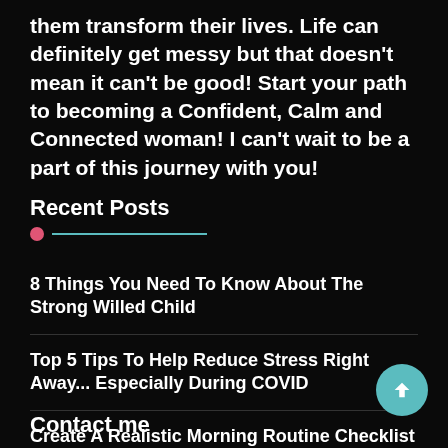them transform their lives. Life can definitely get messy but that doesn't mean it can't be good! Start your path to becoming a Confident, Calm and Connected woman! I can't wait to be a part of this journey with you!
Recent Posts
8 Things You Need To Know About The Strong Willed Child
Top 5 Tips To Help Reduce Stress Right Away... Especially During COVID
Create A Realistic Morning Routine Checklist
Contact me